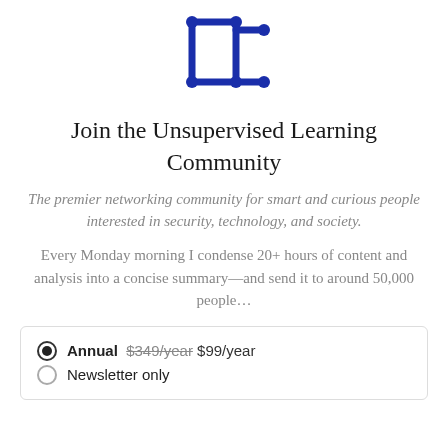[Figure (logo): Unsupervised Learning logo — dark blue geometric bracket/pi-like symbol with dots at joints]
Join the Unsupervised Learning Community
The premier networking community for smart and curious people interested in security, technology, and society.
Every Monday morning I condense 20+ hours of content and analysis into a concise summary—and send it to around 50,000 people…
Annual $349/year $99/year (selected)
Newsletter only